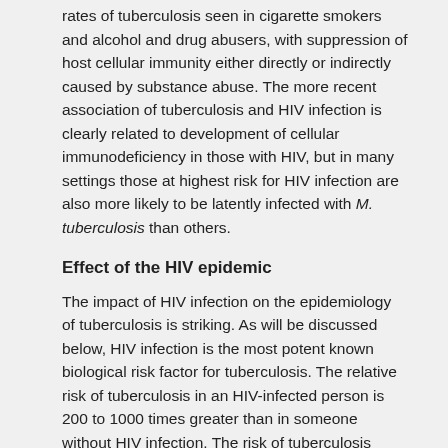rates of tuberculosis seen in cigarette smokers and alcohol and drug abusers, with suppression of host cellular immunity either directly or indirectly caused by substance abuse. The more recent association of tuberculosis and HIV infection is clearly related to development of cellular immunodeficiency in those with HIV, but in many settings those at highest risk for HIV infection are also more likely to be latently infected with M. tuberculosis than others.
Effect of the HIV epidemic
The impact of HIV infection on the epidemiology of tuberculosis is striking. As will be discussed below, HIV infection is the most potent known biological risk factor for tuberculosis. The relative risk of tuberculosis in an HIV-infected person is 200 to 1000 times greater than in someone without HIV infection. The risk of tuberculosis increases shortly after HIV seroconversion, doubling within the first year. As a result of the extraordinary risk conferred from HIV infection, the majority of tuberculosis patients in many sub-Saharan countries